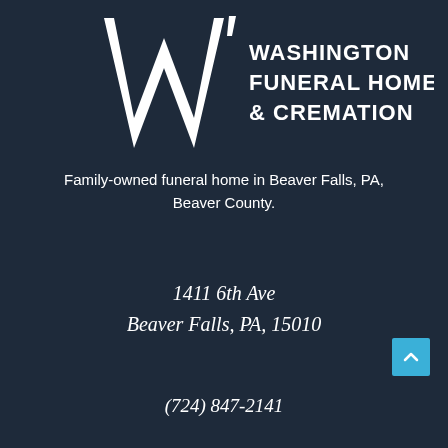[Figure (logo): Washington Funeral Home & Cremation logo with stylized W letterform in white on dark navy background]
Family-owned funeral home in Beaver Falls, PA, Beaver County.
1411 6th Ave
Beaver Falls, PA, 15010
(724) 847-2141